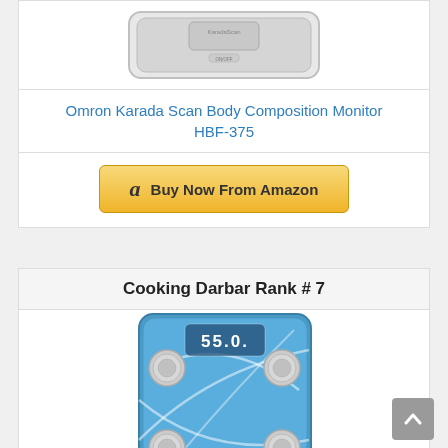[Figure (photo): Omron Karada Scan body composition monitor scale, white/gray, top view]
Omron Karada Scan Body Composition Monitor HBF-375
[Figure (other): Buy Now From Amazon button with Amazon logo]
Cooking Darbar Rank # 7
[Figure (photo): Blue glass body composition scale showing 55.0 on display, with four round metallic corner sensors and curved white line design]